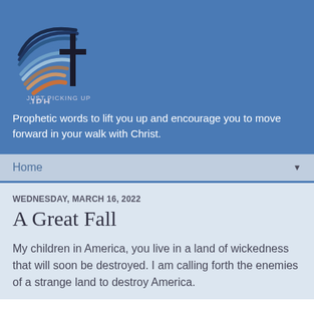[Figure (logo): Wings and cross logo with text 'JPH' and 'JUST PICKING UP']
Prophetic words to lift you up and encourage you to move forward in your walk with Christ.
Home ▼
WEDNESDAY, MARCH 16, 2022
A Great Fall
My children in America, you live in a land of wickedness that will soon be destroyed. I am calling forth the enemies of a strange land to destroy America.